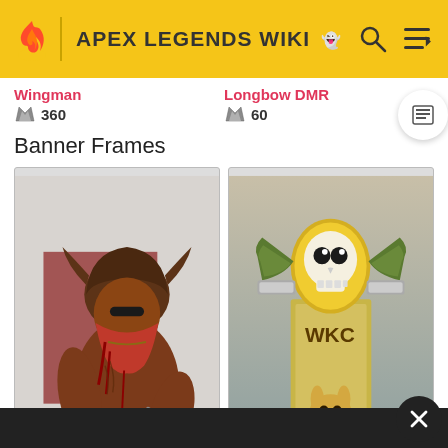APEX LEGENDS WIKI
Wingman
360
Longbow DMR
60
Banner Frames
[Figure (illustration): Banner frame card showing a muscular viking-like character with a brown helmet and red beard holding a bloody cleaver/machete, illustrated in a painted style on a gray background.]
[Figure (illustration): Banner frame card showing a decorative frame with a skull face at the top, green ribbon/banner elements reading 'WKC', golden frame, and a small dog/rabbit character near the bottom center, illustrated in a painted style.]